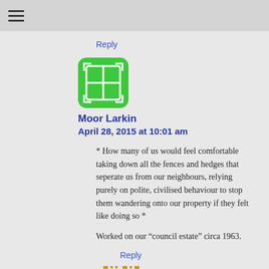☰ (menu icon)
Reply
[Figure (illustration): Green rounded square avatar icon with white grid/window pattern and small arrows at corners]
Moor Larkin
April 28, 2015 at 10:01 am
* How many of us would feel comfortable taking down all the fences and hedges that seperate us from our neighbours, relying purely on polite, civilised behaviour to stop them wandering onto our property if they felt like doing so *
Worked on our “council estate” circa 1963.
Reply
[Figure (illustration): Yellow/golden pixel-art style avatar icon, partially visible at bottom of page]